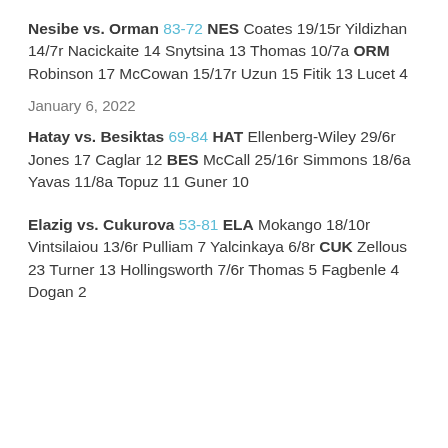Nesibe vs. Orman 83-72 NES Coates 19/15r Yildizhan 14/7r Nacickaite 14 Snytsina 13 Thomas 10/7a ORM Robinson 17 McCowan 15/17r Uzun 15 Fitik 13 Lucet 4
January 6, 2022
Hatay vs. Besiktas 69-84 HAT Ellenberg-Wiley 29/6r Jones 17 Caglar 12 BES McCall 25/16r Simmons 18/6a Yavas 11/8a Topuz 11 Guner 10
Elazig vs. Cukurova 53-81 ELA Mokango 18/10r Vintsilaiou 13/6r Pulliam 7 Yalcinkaya 6/8r CUK Zellous 23 Turner 13 Hollingsworth 7/6r Thomas 5 Fagbenle 4 Dogan 2